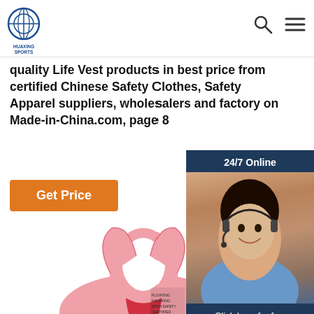HUAXING SPORTS
quality Life Vest products in best price from certified Chinese Safety Clothes, Safety Apparel suppliers, wholesalers and factory on Made-in-China.com, page 8
Get Price
[Figure (photo): Customer service agent / chat widget with '24/7 Online' banner, agent photo (woman with headset), 'Click here for free chat!' text, and orange QUOTATION button]
[Figure (photo): Pink child life vest / flotation device shown from the side on a white background]
[Figure (other): Orange 'TOP' navigation button with dotted arc above]